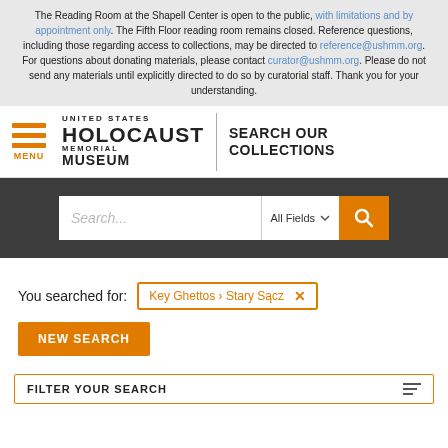The Reading Room at the Shapell Center is open to the public, with limitations and by appointment only. The Fifth Floor reading room remains closed. Reference questions, including those regarding access to collections, may be directed to reference@ushmm.org. For questions about donating materials, please contact curator@ushmm.org. Please do not send any materials until explicitly directed to do so by curatorial staff. Thank you for your understanding.
[Figure (logo): United States Holocaust Memorial Museum logo with hamburger menu icon and SEARCH OUR COLLECTIONS text]
[Figure (screenshot): Search bar with placeholder text 'Search...', All Fields dropdown, and orange search button]
You searched for: Key Ghettos > Stary Sącz
NEW SEARCH
FILTER YOUR SEARCH